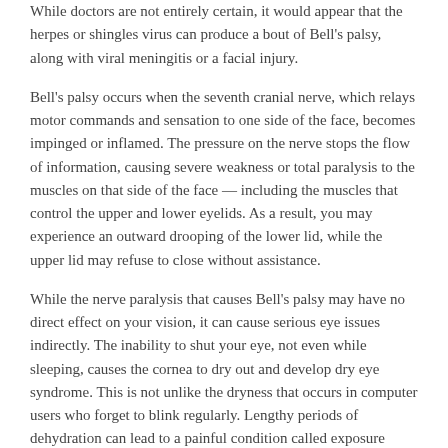While doctors are not entirely certain, it would appear that the herpes or shingles virus can produce a bout of Bell's palsy, along with viral meningitis or a facial injury.
Bell's palsy occurs when the seventh cranial nerve, which relays motor commands and sensation to one side of the face, becomes impinged or inflamed. The pressure on the nerve stops the flow of information, causing severe weakness or total paralysis to the muscles on that side of the face — including the muscles that control the upper and lower eyelids. As a result, you may experience an outward drooping of the lower lid, while the upper lid may refuse to close without assistance.
While the nerve paralysis that causes Bell's palsy may have no direct effect on your vision, it can cause serious eye issues indirectly. The inability to shut your eye, not even while sleeping, causes the cornea to dry out and develop dry eye syndrome. This is not unlike the dryness that occurs in computer users who forget to blink regularly. Lengthy periods of dehydration can lead to a painful condition called exposure keratitis.
Saving Your Eye from Pain and